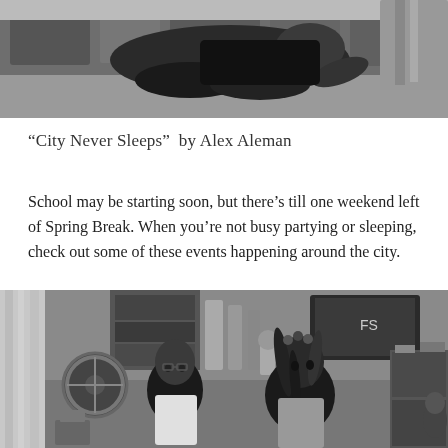[Figure (photo): Black and white photograph cropped at top showing a person lying/sitting on a bed or floor with patterned fabric visible]
“City Never Sleeps”  by Alex Aleman
School may be starting soon, but there’s till one weekend left of Spring Break. When you’re not busy partying or sleeping, check out some of these events happening around the city.
[Figure (photo): Black and white photograph showing two people in an interior room setting, one older bald person and one younger person with braids, various objects visible in background including a fan, curtains, and furniture]